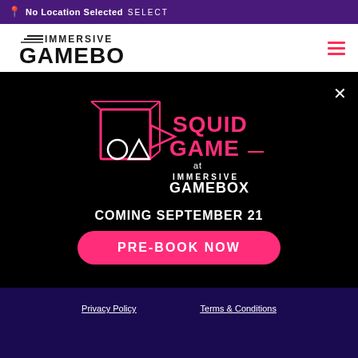No Location Selected SELECT
[Figure (logo): Immersive Gamebox logo with speed lines above GAMEBOX text]
[Figure (illustration): Squid Game at Immersive Gamebox promotional logo with geometric shapes (circle, triangle, square) in pink outline style]
COMING SEPTEMBER 21
PRE-BOOK NOW
Privacy Policy   Terms & Conditions